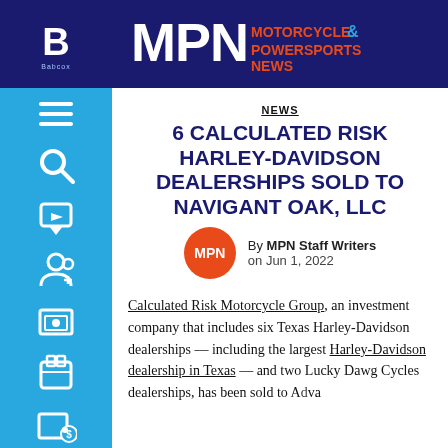MPN MOTORCYCLE & POWERSPORTS NEWS
NEWS
6 CALCULATED RISK HARLEY-DAVIDSON DEALERSHIPS SOLD TO NAVIGANT OAK, LLC
By MPN Staff Writers on Jun 1, 2022
Calculated Risk Motorcycle Group, an investment company that includes six Texas Harley-Davidson dealerships — including the largest Harley-Davidson dealership in Texas — and two Lucky Dawg Cycles dealerships, has been sold to Advantage...